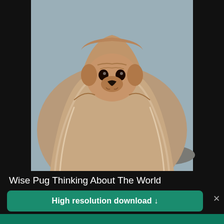[Figure (photo): A pug dog wrapped in a brown fuzzy blanket or coat, looking thoughtful, with a grey cloudy sky in the background. The photo is framed on a dark/black background with dark side bars.]
Wise Pug Thinking About The World
High resolution download ↓
[Figure (logo): Shopify logo — white shopping bag icon and white 'shopify' wordmark on green background]
Need an online store for your business?
Start free trial